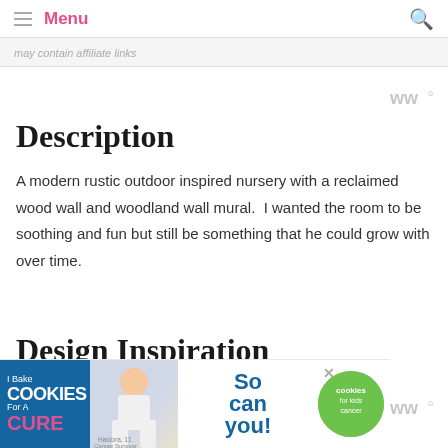Menu
may contain affiliate links
Description
A modern rustic outdoor inspired nursery with a reclaimed wood wall and woodland wall mural.  I wanted the room to be soothing and fun but still be something that he could grow with over time.
Design Inspiration
My...and
[Figure (other): Advertisement banner: 'I Bake COOKIES For A CURE' with photo of girl and green circle badge for cookies for kids cancer]